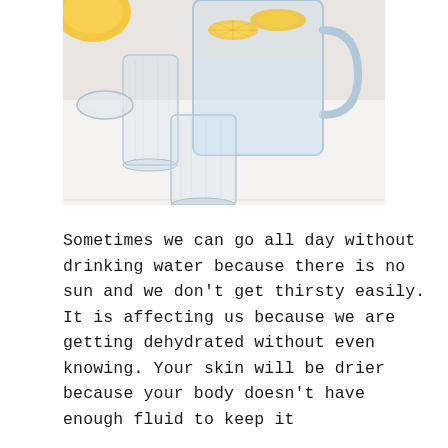[Figure (photo): Overhead view of a glass pitcher filled with water and lemon slices, alongside two empty drinking glasses on a white surface. Some lemons are visible in the upper left corner.]
Sometimes we can go all day without drinking water because there is no sun and we don't get thirsty easily. It is affecting us because we are getting dehydrated without even knowing. Your skin will be drier because your body doesn't have enough fluid to keep it